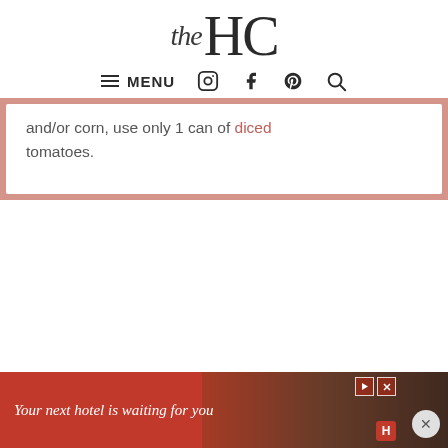the HC
≡ MENU  Instagram  Facebook  Pinterest  Search
and/or corn, use only 1 can of diced tomatoes.
[Figure (screenshot): Advertisement banner: 'Your next hotel is waiting for you' with a hotel/landscape photo background, red background, close button]
Your next hotel is waiting for you